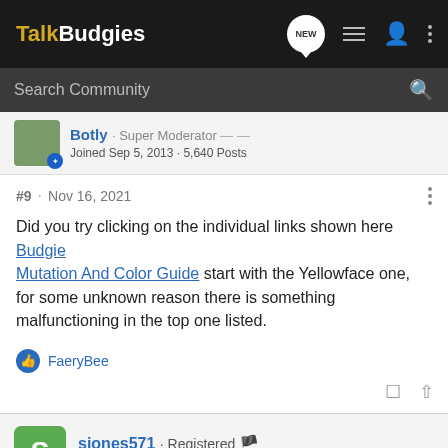TalkBudgies
Search Community
Botly · Super Moderator
Joined Sep 5, 2013 · 5,640 Posts
#9 · Nov 16, 2021
Did you try clicking on the individual links shown here Budgie Mutation And Color Guide start with the Yellowface one, for some unknown reason there is something malfunctioning in the top one listed.
FaeryBee
sjones571 · Registered
Joined Oct 26, 2021 · 5 Posts